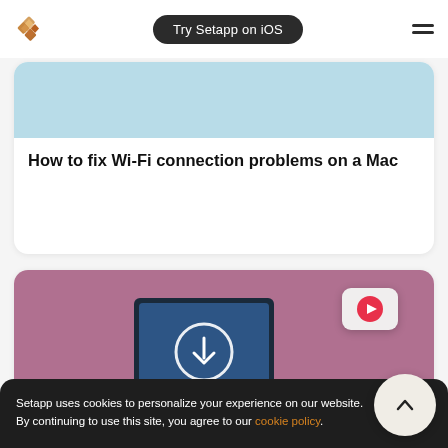Try Setapp on iOS
[Figure (illustration): Light blue banner image at top of first card]
How to fix Wi-Fi connection problems on a Mac
[Figure (illustration): Second card with mauve/rose background showing a laptop with download icon and a YouTube play button badge overlay]
Setapp uses cookies to personalize your experience on our website. By continuing to use this site, you agree to our cookie policy.